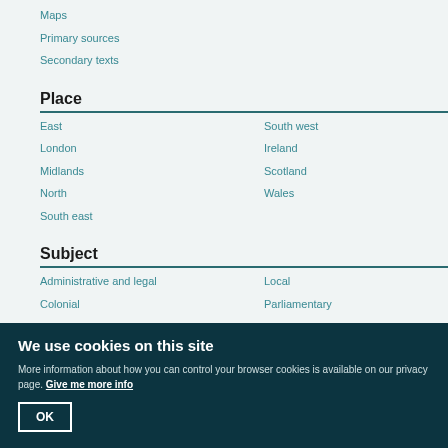Maps
Primary sources
Secondary texts
Place
East
South west
London
Ireland
Midlands
Scotland
North
Wales
South east
Subject
Administrative and legal
Local
Colonial
Parliamentary
We use cookies on this site
More information about how you can control your browser cookies is available on our privacy page. Give me more info
OK